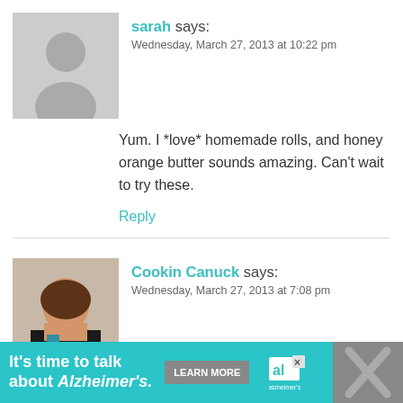[Figure (photo): Generic user avatar placeholder, grey silhouette]
sarah says:
Wednesday, March 27, 2013 at 10:22 pm
Yum. I *love* homemade rolls, and honey orange butter sounds amazing. Can't wait to try these.
Reply
[Figure (photo): Photo of Cookin Canuck author, woman with brown hair and dark jacket]
Cookin Canuck says:
Wednesday, March 27, 2013 at 7:08 pm
What a lovely rolls! I can imagine how good they would be the next morning, alongside a cup of tea.
Reply
[Figure (infographic): Advertisement banner: It's time to talk about Alzheimer's. LEARN MORE. Alzheimer's Association logo.]